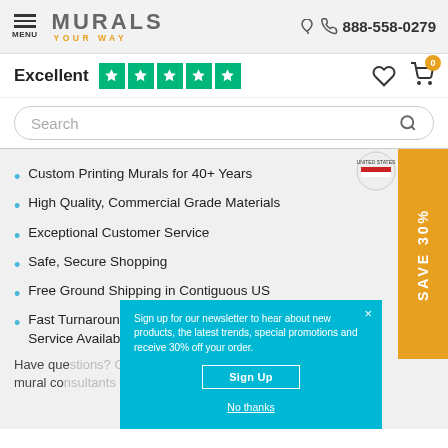[Figure (screenshot): Website header with hamburger menu icon labeled MENU, Murals Your Way logo, and phone number 888-558-0279]
[Figure (other): Rating bar showing Excellent with five green Trustpilot stars, heart icon and shopping cart icon with 0 badge]
[Figure (other): Search bar with rounded rectangle input and magnifying glass icon]
Custom Printing Murals for 40+ Years
High Quality, Commercial Grade Materials
Exceptional Customer Service
Safe, Secure Shopping
Free Ground Shipping in Contiguous US
Fast Turnaround, Expedited Shipping & Rush Service Available
Have que... local mural co...
[Figure (other): Newsletter signup popup in cyan/teal color. Text: Sign up for our newsletter to hear about new products, the latest trends, special promotions and receive 30% off your order. Sign Up button and No thanks link.]